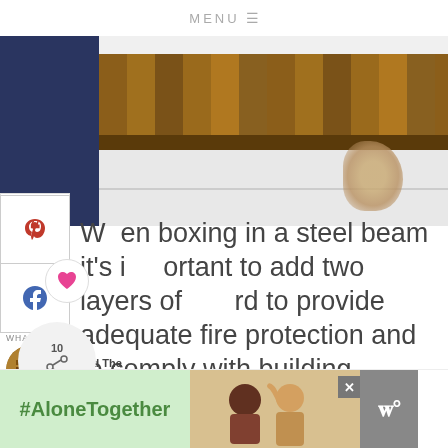MENU
[Figure (photo): Construction photo showing wooden beam boxing, white tiles, and dark navy wall in a kitchen or home renovation setting]
[Figure (other): Pinterest and Facebook social share sidebar buttons with heart and share icons showing count of 10]
When boxing in a steel beam it's important to add two layers of board to provide adequate fire protection and to comply with building reg...
[Figure (other): What's Next widget showing Behind The Scenes article thumbnail]
[Figure (other): Advertisement banner with #AloneTogether hashtag in green, photo of people, and W logo]